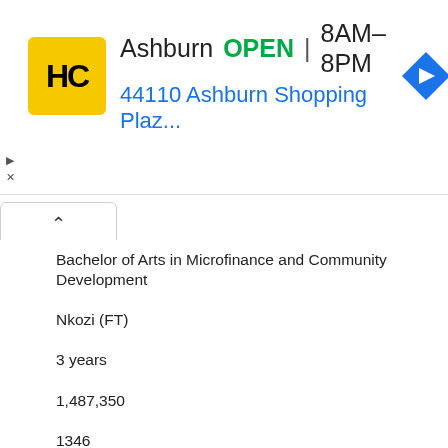[Figure (screenshot): Advertisement banner for HC store in Ashburn, showing logo, OPEN status, hours 8AM-8PM, address 44110 Ashburn Shopping Plaz..., and navigation arrow icon]
Bachelor of Arts in Microfinance and Community Development
Nkozi (FT)
3 years
1,487,350
1346
(NEW)
Bachelor of Social Development and Counselling
Rubaga (Day, Even)
3 years